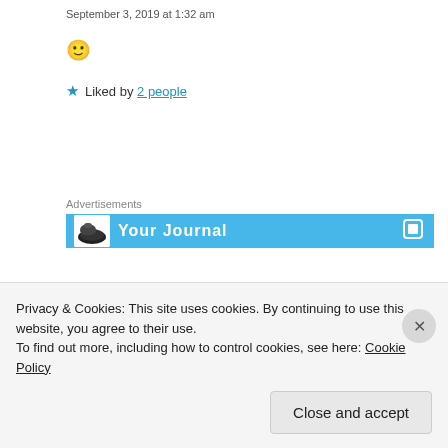September 3, 2019 at 1:32 am
🙂
Liked by 2 people
Advertisements
[Figure (screenshot): Blue advertisement banner with shoe image and text 'Your Journal']
thestorycracker
September 18, 2019 at 6:46 am
Privacy & Cookies: This site uses cookies. By continuing to use this website, you agree to their use. To find out more, including how to control cookies, see here: Cookie Policy
Close and accept